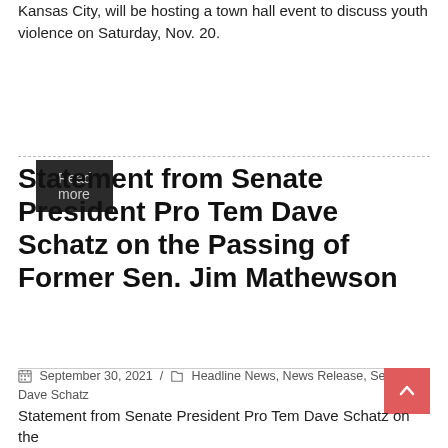Kansas City, will be hosting a town hall event to discuss youth violence on Saturday, Nov. 20.
Read more
Statement from Senate President Pro Tem Dave Schatz on the Passing of Former Sen. Jim Mathewson
September 30, 2021 / Headline News, News Release, Senator Dave Schatz
Statement from Senate President Pro Tem Dave Schatz on the